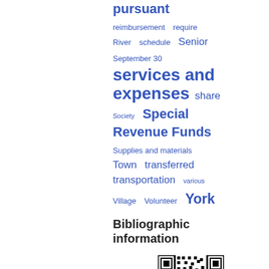[Figure (infographic): Tag cloud with blue words of varying sizes: pursuant (large), reimbursement, require, River, schedule, Senior, September 30, services and expenses (largest), share, Society, Special Revenue Funds (large), Supplies and materials, Town, transferred, transportation, various, Village, Volunteer, York (large)]
Bibliographic information
[Figure (other): QR code at bottom right]